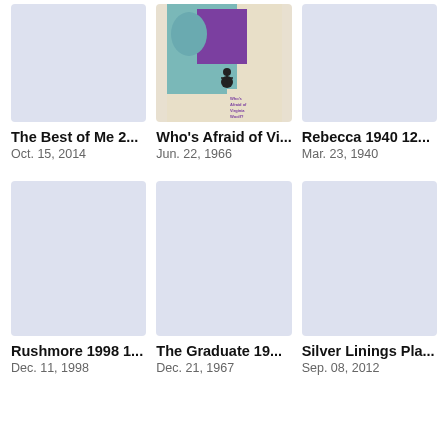[Figure (other): Movie poster placeholder - light blue/gray rectangle]
[Figure (other): Who's Afraid of Virginia Woolf movie poster - teal and purple pop art style with figure on bicycle]
[Figure (other): Movie poster placeholder - light blue/gray rectangle]
The Best of Me 2...
Oct. 15, 2014
Who's Afraid of Vi...
Jun. 22, 1966
Rebecca 1940 12...
Mar. 23, 1940
[Figure (other): Movie poster placeholder - light blue/gray rectangle]
[Figure (other): Movie poster placeholder - light blue/gray rectangle]
[Figure (other): Movie poster placeholder - light blue/gray rectangle]
Rushmore 1998 1...
Dec. 11, 1998
The Graduate 19...
Dec. 21, 1967
Silver Linings Pla...
Sep. 08, 2012